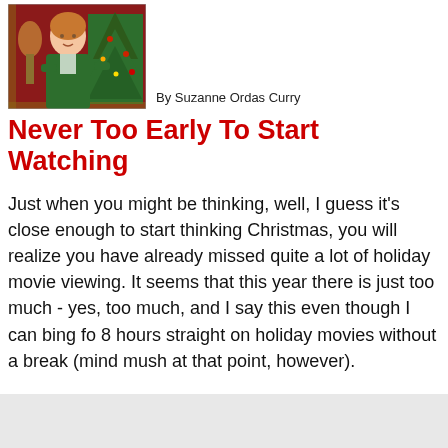[Figure (photo): Woman in green cardigan standing with arms crossed in front of Christmas decorations]
By Suzanne Ordas Curry
Never Too Early To Start Watching
Just when you might be thinking, well, I guess it's close enough to start thinking Christmas, you will realize you have already missed quite a lot of holiday movie viewing. It seems that this year there is just too much - yes, too much, and I say this even though I can bing fo 8 hours straight on holiday movies without a break (mind mush at that point, however).